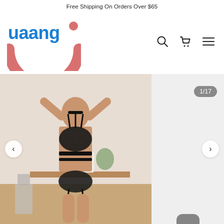Free Shipping On Orders Over $65
[Figure (logo): uaang logo: blue lowercase text 'uaang' with a salmon/coral dot above the second 'a', and a large salmon/coral semicircle smile shape below]
[Figure (other): Navigation icons: search (magnifying glass), cart (shopping cart), and hamburger menu (three horizontal lines)]
[Figure (photo): Product photo of a woman wearing black strappy lace lingerie set with garter belt, in a light interior setting. Left arrow navigation button visible on left side.]
[Figure (other): Light gray side panel showing counter badge '1/17' in top right and a partial gray badge at the bottom, with a right arrow navigation button.]